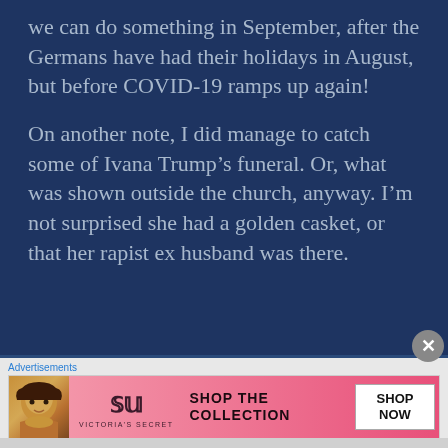we can do something in September, after the Germans have had their holidays in August, but before COVID-19 ramps up again!
On another note, I did manage to catch some of Ivana Trump’s funeral. Or, what was shown outside the church, anyway. I’m not surprised she had a golden casket, or that her rapist ex husband was there.
Advertisements
[Figure (other): Victoria's Secret advertisement banner with model photo, VS logo, 'SHOP THE COLLECTION' text, and 'SHOP NOW' button]